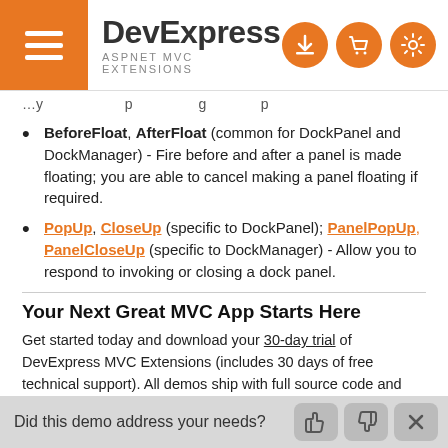DevExpress — ASPNET MVC EXTENSIONS
BeforeFloat, AfterFloat (common for DockPanel and DockManager) - Fire before and after a panel is made floating; you are able to cancel making a panel floating if required.
PopUp, CloseUp (specific to DockPanel); PanelPopUp, PanelCloseUp (specific to DockManager) - Allow you to respond to invoking or closing a dock panel.
Your Next Great MVC App Starts Here
Get started today and download your 30-day trial of DevExpress MVC Extensions (includes 30 days of free technical support). All demos ship with full source code and are included in the DevExpress MVC distribution. Refer to the Demos and Sample Applications topic to learn more.
DevExpress MVC Extensions ship as part of DevExpress Universal, DXperience and ASP.NET Subscriptions and are backed by a 60 day unconditional money-back guarantee. To learn more and obtain pricing information, visit the Compare Features and Pricing webpage. For immediate assistance, contact us by Email at info@de… and 4:3…